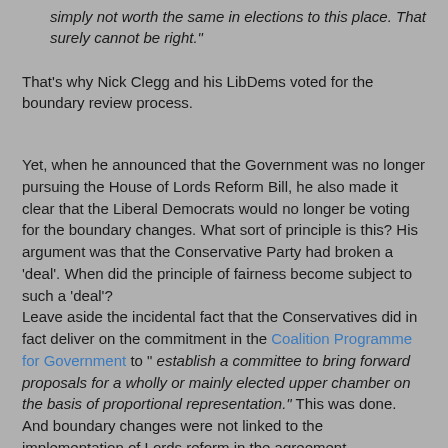simply not worth the same in elections to this place. That surely cannot be right."
That's why Nick Clegg and his LibDems voted for the boundary review process.
Yet, when he announced that the Government was no longer pursuing the House of Lords Reform Bill, he also made it clear that the Liberal Democrats would no longer be voting for the boundary changes. What sort of principle is this? His argument was that the Conservative Party had broken a 'deal'. When did the principle of fairness become subject to such a 'deal'?
Leave aside the incidental fact that the Conservatives did in fact deliver on the commitment in the Coalition Programme for Government to " establish a committee to bring forward proposals for a wholly or mainly elected upper chamber on the basis of proportional representation." This was done. And boundary changes were not linked to the implementation of Lords reform in the agreement.